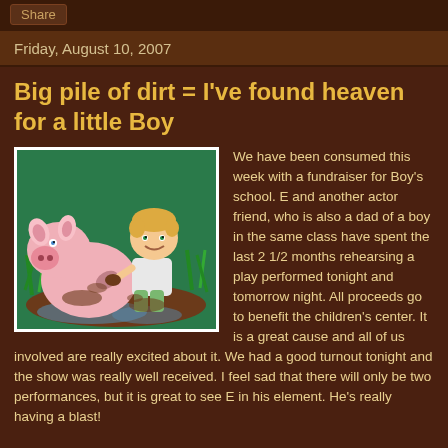Share
Friday, August 10, 2007
Big pile of dirt = I've found heaven for a little Boy
[Figure (illustration): Cartoon illustration of a pig and a young boy sitting together in mud puddle with green grass in background]
We have been consumed this week with a fundraiser for Boy's school. E and another actor friend, who is also a dad of a boy in the same class have spent the last 2 1/2 months rehearsing a play performed tonight and tomorrow night. All proceeds go to benefit the children's center. It is a great cause and all of us involved are really excited about it. We had a good turnout tonight and the show was really well received. I feel sad that there will only be two performances, but it is great to see E in his element. He's really having a blast!